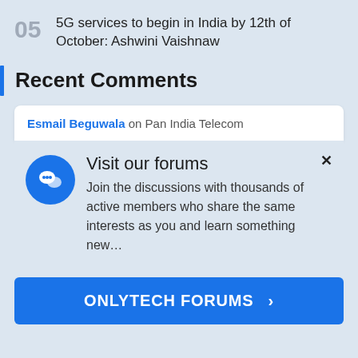05  5G services to begin in India by 12th of October: Ashwini Vaishnaw
Recent Comments
Esmail Beguwala on Pan India Telecom
Visit our forums
Join the discussions with thousands of active members who share the same interests as you and learn something new...
ONLYTECH FORUMS >